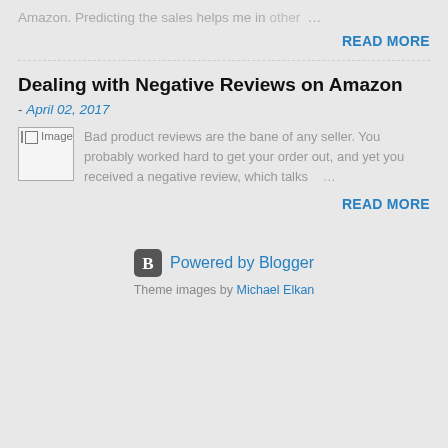Amazon. Predicting the sales helps me in other …
READ MORE
Dealing with Negative Reviews on Amazon
- April 02, 2017
[Figure (other): Broken image placeholder labeled Image]
Bad product reviews are the bane of any seller. You probably worked hard to get your order out, and yet you received a negative review, which talks …
READ MORE
Powered by Blogger
Theme images by Michael Elkan